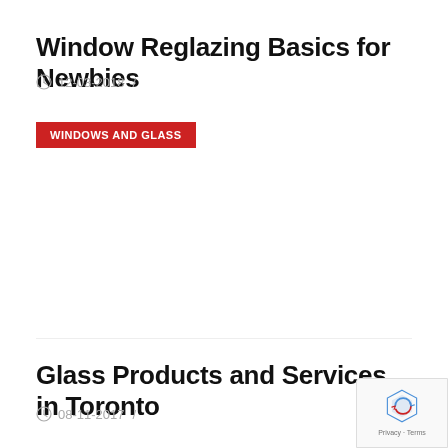Window Reglazing Basics for Newbies
12-03-2018 /
WINDOWS AND GLASS
Glass Products and Services in Toronto
08-11-2017 /